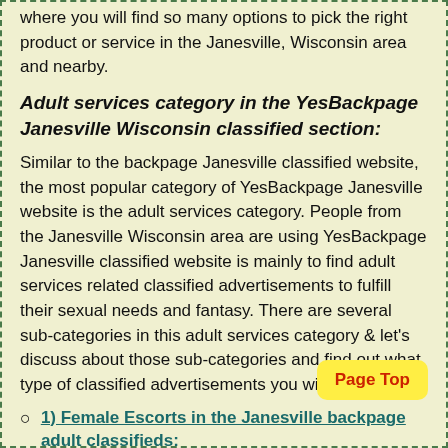where you will find so many options to pick the right product or service in the Janesville, Wisconsin area and nearby.
Adult services category in the YesBackpage Janesville Wisconsin classified section:
Similar to the backpage Janesville classified website, the most popular category of YesBackpage Janesville website is the adult services category. People from the Janesville Wisconsin area are using YesBackpage Janesville classified website is mainly to find adult services related classified advertisements to fulfill their sexual needs and fantasy. There are several sub-categories in this adult services category & let's discuss about those sub-categories and find out what type of classified advertisements you will find in there.
1) Female Escorts in the Janesville backpage adult classifieds:
The most popular sub-category under the